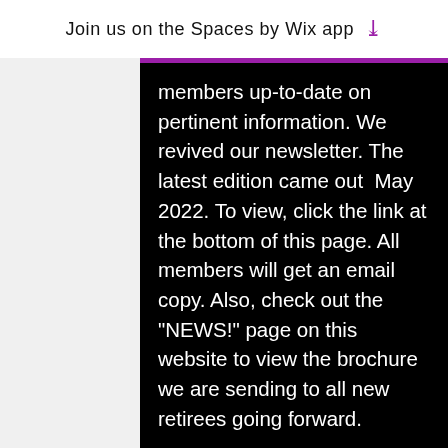Join us on the Spaces by Wix app
members up-to-date on pertinent information. We revived our newsletter. The latest edition came out  May 2022. To view, click the link at the bottom of this page. All members will get an email copy. Also, check out the "NEWS!" page on this website to view the brochure we are sending to all new retirees going forward.
In-person luncheons are back but we are keeping two general membership ZOOM meetings a